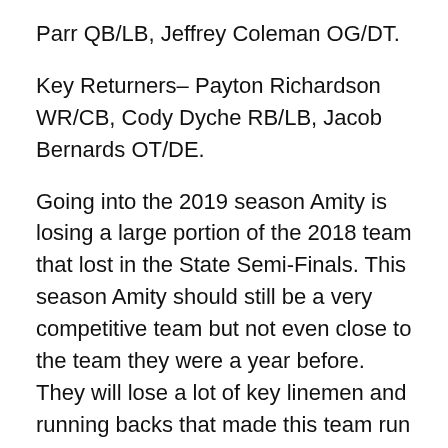Parr QB/LB, Jeffrey Coleman OG/DT.
Key Returners– Payton Richardson WR/CB, Cody Dyche RB/LB, Jacob Bernards OT/DE.
Going into the 2019 season Amity is losing a large portion of the 2018 team that lost in the State Semi-Finals. This season Amity should still be a very competitive team but not even close to the team they were a year before. They will lose a lot of key linemen and running backs that made this team run so efficiently in 2018. Amity will bring back a few quality players like Cody Dyche and